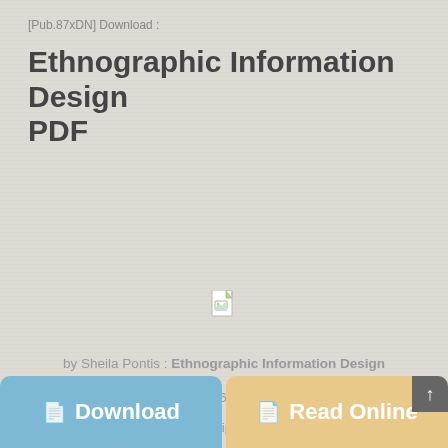[Pub.87xDN] Download :
Ethnographic Information Design PDF
[Figure (other): Broken image placeholder icon in center of page]
by Sheila Pontis : Ethnographic Information Design
ISBN : #0415790026 | Date : 2018-05-22
Description :
PDF-d212d | ... Ethnographic Information Design
Download
Read Online